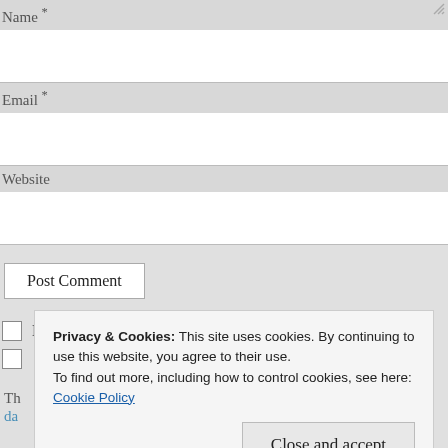Name *
Email *
Website
Post Comment
Notify me of new comments via email.
Privacy & Cookies: This site uses cookies. By continuing to use this website, you agree to their use. To find out more, including how to control cookies, see here: Cookie Policy
Close and accept
Advertisements